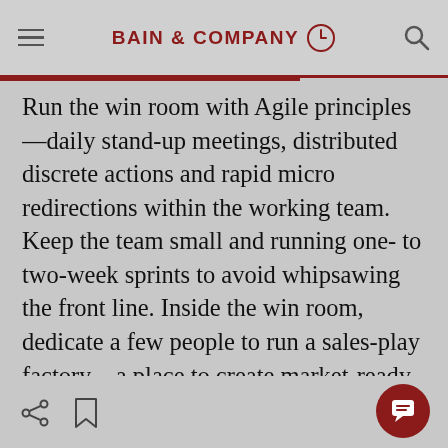BAIN & COMPANY
Run the win room with Agile principles—daily stand-up meetings, distributed discrete actions and rapid micro redirections within the working team. Keep the team small and running one- to two-week sprints to avoid whipsawing the front line. Inside the win room, dedicate a few people to run a sales-play factory—a place to create market-ready plays composed of specific offerings to target segments, as well as incentives, marketing support, sales collateral and training (see Figure 1).